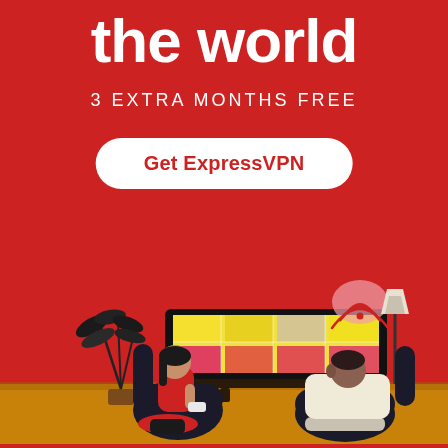the world
3 EXTRA MONTHS FREE
Get ExpressVPN
[Figure (illustration): Illustrated scene of two people (a woman and a man) sitting in dark armchairs watching a large TV screen displaying a colorful grid of yellow, orange, pink and grey tiles. A plant is on the left, a floor lamp on the right, and a WiFi signal icon glows above the TV. The floor is golden/amber colored. The background is red.]